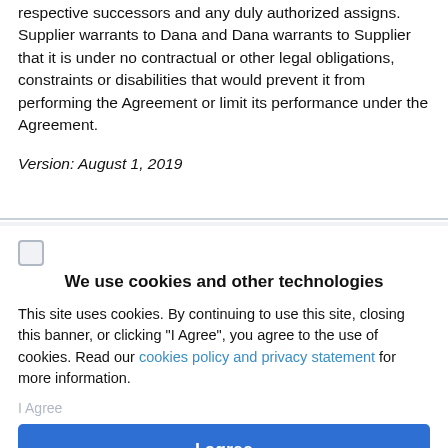respective successors and any duly authorized assigns. Supplier warrants to Dana and Dana warrants to Supplier that it is under no contractual or other legal obligations, constraints or disabilities that would prevent it from performing the Agreement or limit its performance under the Agreement.
Version: August 1, 2019
We use cookies and other technologies
This site uses cookies. By continuing to use this site, closing this banner, or clicking "I Agree", you agree to the use of cookies. Read our cookies policy and privacy statement for more information.
I agree
More information